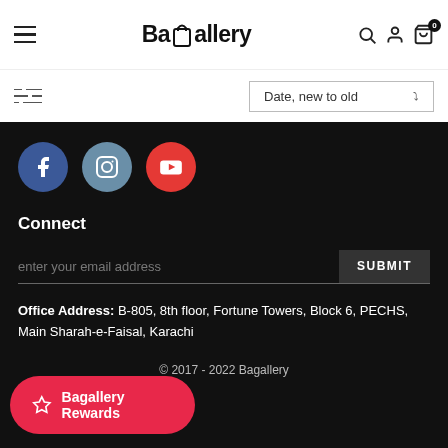Bagallery — navigation header with hamburger menu, logo, search, user, and cart icons
Date, new to old
[Figure (screenshot): Social media icons: Facebook (blue circle), Instagram (grey-blue circle), YouTube (red circle)]
Connect
enter your email address  SUBMIT
Office Address: B-805, 8th floor, Fortune Towers, Block 6, PECHS, Main Sharah-e-Faisal, Karachi
© 2017 - 2022 Bagallery
Bagallery Rewards